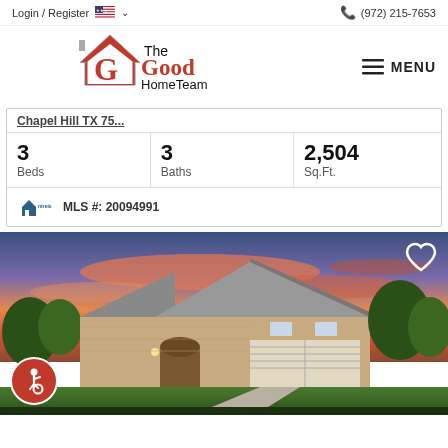Login / Register   (972) 215-7653
[Figure (logo): The Good HomeTeam logo with house and G icon]
MENU
Chapel Hill TX 75...
| Beds | Baths | Sq.Ft. |
| --- | --- | --- |
| 3 | 3 | 2,504 |
MLS #: 20094991
[Figure (photo): Exterior photo of a brick single-story home at dusk with dramatic orange and blue sky, two-car garage, with heart/favorite icon and accessibility icon]